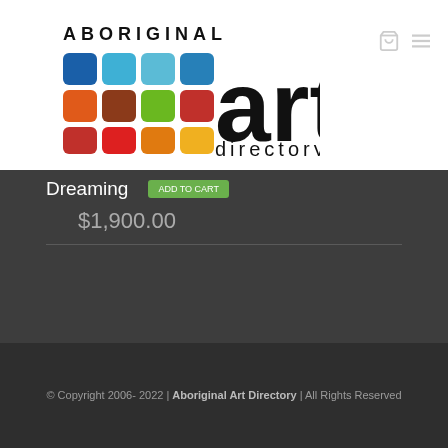[Figure (logo): Aboriginal Art Directory logo with colorful grid of rounded squares and large 'art' text with 'ABORIGINAL' above and 'directory' below]
Dreaming
$1,900.00
© Copyright 2006- 2022 | Aboriginal Art Directory | All Rights Reserved